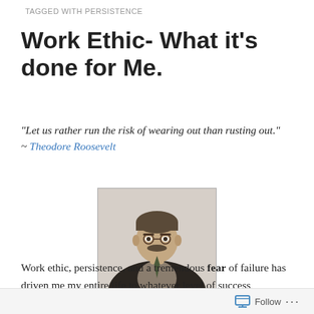TAGGED WITH PERSISTENCE
Work Ethic- What it’s done for Me.
“Let us rather run the risk of wearing out than rusting out.” ~ Theodore Roosevelt
[Figure (photo): Black and white portrait photograph of Theodore Roosevelt in formal attire with a suit and tie.]
Theodore Roosevelt
Work ethic, persistence, and a tremendous fear of failure has driven me my entire life to whatever level of success
Follow